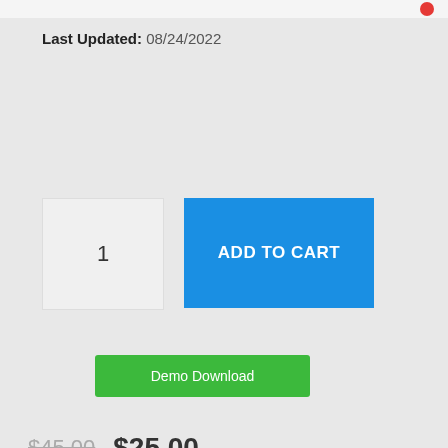Last Updated: 08/24/2022
[Figure (screenshot): Quantity input box showing '1' and blue 'ADD TO CART' button]
[Figure (screenshot): Green 'Demo Download' button]
$45.00  $25.00
[Figure (illustration): 100% guarantee badge emblem at bottom, partially visible, with green rounded border box]